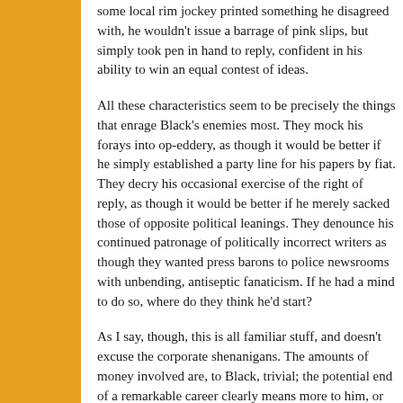some local rim jockey printed something he disagreed with, he wouldn't issue a barrage of pink slips, but simply took pen in hand to reply, confident in his ability to win an equal contest of ideas.
All these characteristics seem to be precisely the things that enrage Black's enemies most. They mock his forays into op-eddery, as though it would be better if he simply established a party line for his papers by fiat. They decry his occasional exercise of the right of reply, as though it would be better if he merely sacked those of opposite political leanings. They denounce his continued patronage of politically incorrect writers as though they wanted press barons to police newsrooms with unbending, antiseptic fanaticism. If he had a mind to do so, where do they think he'd start?
As I say, though, this is all familiar stuff, and doesn't excuse the corporate shenanigans. The amounts of money involved are, to Black, trivial; the potential end of a remarkable career clearly means more to him, or he'd have surrendered to the Hollinger minority investors months ago. It is hard to imagine him descending into mere desuetude. More likely he'll take a while to let the heat die and then buy himself another miserable little paper or magazine someplace. Above all he seems to have a great lust to be numbered amongst those who buy their ink by the barrel.